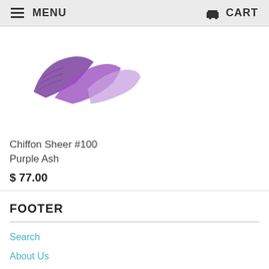MENU   CART
[Figure (photo): Purple chiffon sheer fabric folded, with varying shades of purple and lavender]
Chiffon Sheer #100 Purple Ash
$ 77.00
FOOTER
Search
About Us
Terms of Use